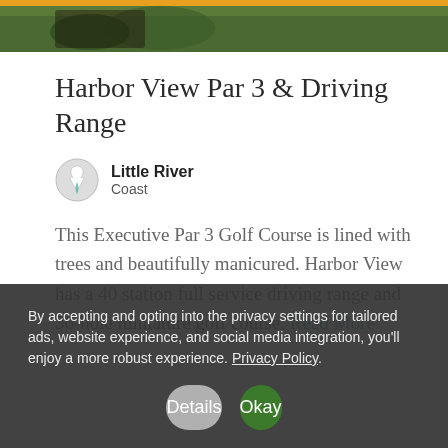[Figure (photo): Top portion of a golf course photo with orange/amber banner and dark greenery]
Harbor View Par 3 & Driving Range
Little River
Coast
This Executive Par 3 Golf Course is lined with trees and beautifully manicured. Harbor View has a 40 station full service driving range and 36-hole miniature golf course. Read More
By accepting and opting into the privacy settings for tailored ads, website experience, and social media integration, you'll enjoy a more robust experience. Privacy Policy
Details
Okay